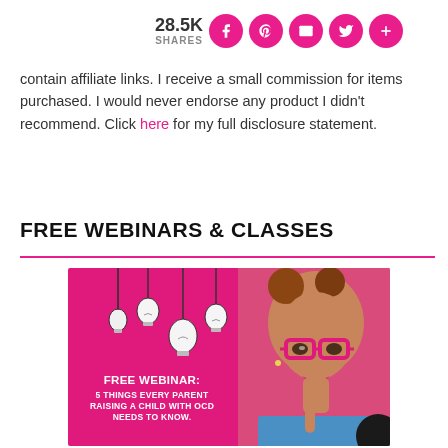28.5K SHARES [social share buttons: Facebook, Pinterest, Email, Twitter, More]
contain affiliate links. I receive a small commission for items purchased. I would never endorse any product I didn't recommend. Click here for my full disclosure statement.
FREE WEBINARS & CLASSES
[Figure (illustration): Promotional banner for a free webinar on a bright pink background. Left side shows hanging lightbulb illustrations (5 bulbs). Right side shows a young woman with pink glasses and pink lipstick, hair in buns, pointing upward with one finger. Text overlay reads: FREE WEBINAR: 5 THINGS EVERY PARENT RAISING A CHILD WITH OCD NEEDS TO KNOW.]